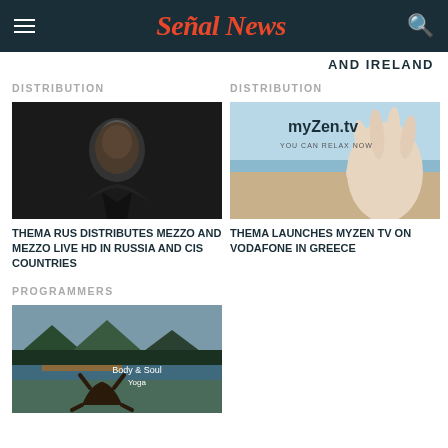Señal News
AND IRELAND
DISTRIBUTION
[Figure (photo): Portrait of a man in dark clothing against dark background]
THEMA RUS DISTRIBUTES MEZZO AND MEZZO LIVE HD IN RUSSIA AND CIS COUNTRIES
DISTRIBUTION
[Figure (photo): myZen.tv YOU CAN RELAX NOW — hand in meditation pose over beach background]
THEMA LAUNCHES MYZEN TV ON VODAFONE IN GREECE
PROGRAMMERS
[Figure (photo): Body & Soul Yoga — person doing yoga pose by lake with mountains]